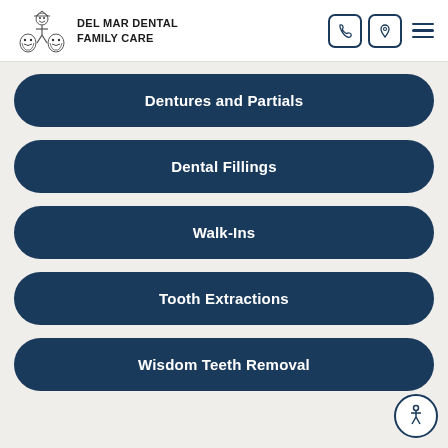DEL MAR DENTAL FAMILY CARE
Dentures and Partials
Dental Fillings
Walk-Ins
Tooth Extractions
Wisdom Teeth Removal